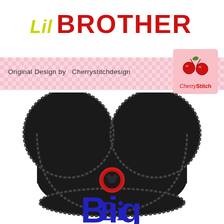Lil Brother
Original Design by  Cherrystitchdesign
[Figure (logo): CherryStitch logo: pink square with two red cherries and script text 'CherryStitch']
[Figure (illustration): Mickey Mouse ears hat silhouette in black with a red circle badge containing a small Mickey Mouse head icon, with cursive blue text 'Big Bro' below the hat]